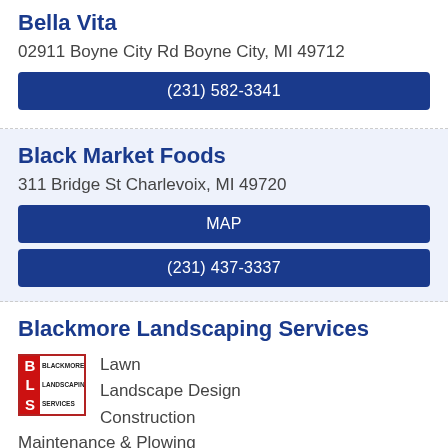Bella Vita
02911 Boyne City Rd Boyne City, MI 49712
(231) 582-3341
Black Market Foods
311 Bridge St Charlevoix, MI 49720
MAP
(231) 437-3337
Blackmore Landscaping Services
[Figure (logo): Blackmore Landscaping Services BLS logo with red border, red letter squares B, L, S and small text BLACKMORE LANDSCAPING SERVICES]
Lawn
Landscape Design
Construction
Maintenance & Plowing